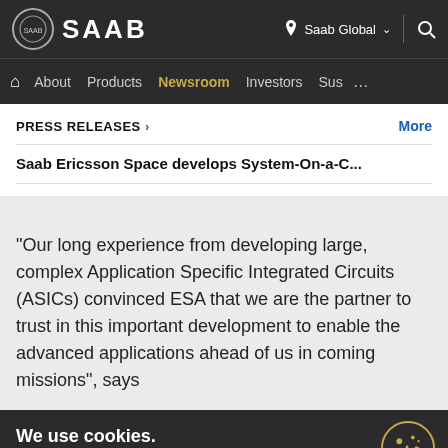SAAB — Saab Global
Home  About  Products  Newsroom  Investors  Sus  ...
PRESS RELEASES >   More
Saab Ericsson Space develops System-On-a-C...
"Our long experience from developing large, complex Application Specific Integrated Circuits (ASICs) convinced ESA that we are the partner to trust in this important development to enable the advanced applications ahead of us in coming missions", says
We use cookies.
Saab uses cookies and related tracking technologies to